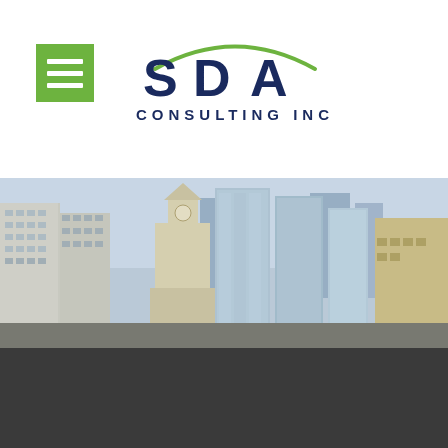[Figure (logo): Green hamburger menu icon (three white horizontal lines on green square background) in top left corner]
[Figure (logo): SDA Consulting Inc logo — dark navy blue letters 'SDA' with green swoosh arc above, and 'CONSULTING INC' text below in navy blue spaced capitals]
[Figure (photo): Wide panoramic cityscape photograph showing downtown Chicago skyscrapers including the Wrigley Building clock tower and modern glass high-rises against a partly cloudy sky]
[Figure (other): Dark gray/charcoal solid color band at the bottom of the page]